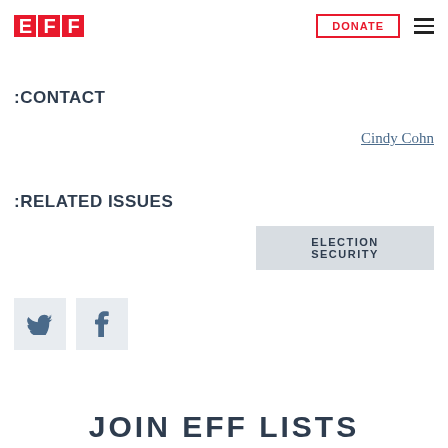EFF | DONATE | election security | https://www.eff.org/issues/election-security
:CONTACT
Cindy Cohn
:RELATED ISSUES
ELECTION SECURITY
[Figure (logo): Twitter and Facebook social share icons]
JOIN EFF LISTS